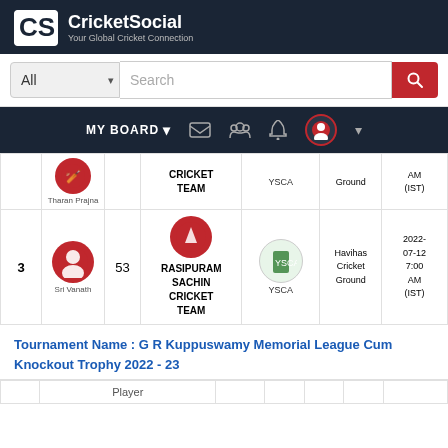CricketSocial - Your Global Cricket Connection
[Figure (screenshot): CricketSocial website header with logo, search bar, and navigation bar with MY BOARD dropdown, mail icon, people icon, bell icon, and user avatar]
| # | Player | Score | Team | Opponent | Venue | Date/Time |
| --- | --- | --- | --- | --- | --- | --- |
|  | Tharan Prajna |  | CRICKET TEAM | YSCA | Ground | AM (IST) |
| 3 | Sri Vanath | 53 | RASIPURAM SACHIN CRICKET TEAM | YSCA | Havihas Cricket Ground | 2022-07-12 7:00 AM (IST) |
Tournament Name : G R Kuppuswamy Memorial League Cum Knockout Trophy 2022 - 23
| Player |
| --- |